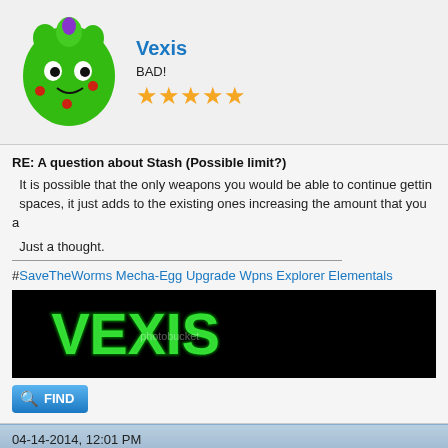[Figure (illustration): Green spiky cartoon character avatar for user Vexis]
Vexis
BAD!
[Figure (illustration): Five gold star rating]
RE: A question about Stash (Possible limit?)
It is possible that the only weapons you would be able to continue getting spaces, it just adds to the existing ones increasing the amount that you a
Just a thought.
#SaveTheWorms Mecha-Egg Upgrade Wpns Explorer Elementals
[Figure (illustration): Dark banner image with glowing green Vexis text logo on black background]
FIND
04-14-2014, 12:01 PM
[Figure (illustration): Angry egg avatar for user snitcher]
snitcher
Scrambled
[Figure (illustration): Three gold star rating]
RE: A question about Stash (Possible limit?)